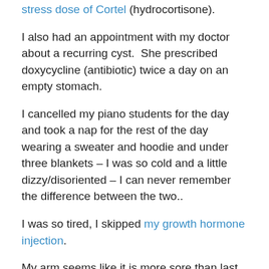stress dose of Cortel (hydrocortisone).
I also had an appointment with my doctor about a recurring cyst.  She prescribed doxycycline (antibiotic) twice a day on an empty stomach.
I cancelled my piano students for the day and took a nap for the rest of the day wearing a sweater and hoodie and under three blankets – I was so cold and a little dizzy/disoriented – I can never remember the difference between the two..
I was so tired, I skipped my growth hormone injection.
My arm seems like it is more sore than last time.
About 2 am, I got up needing to go to the bathroom and I was still so cold.  I was under 3 blankets and a bathrobe.